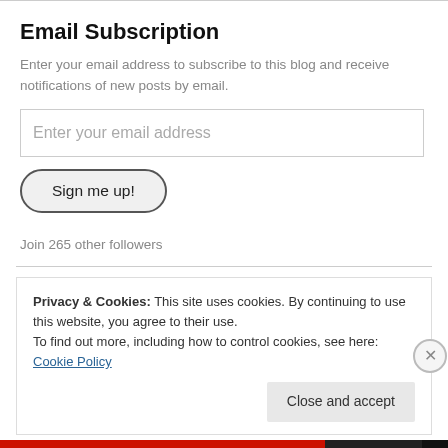Email Subscription
Enter your email address to subscribe to this blog and receive notifications of new posts by email.
Enter your email address
Sign me up!
Join 265 other followers
Privacy & Cookies: This site uses cookies. By continuing to use this website, you agree to their use.
To find out more, including how to control cookies, see here: Cookie Policy
Close and accept